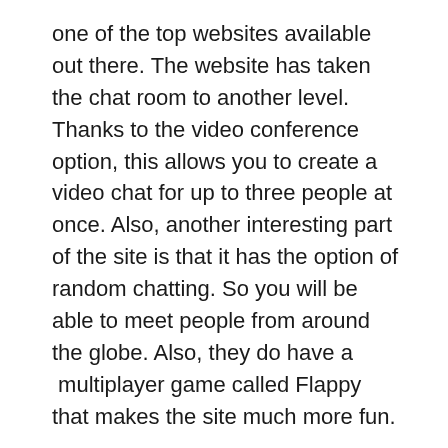one of the top websites available out there. The website has taken the chat room to another level. Thanks to the video conference option, this allows you to create a video chat for up to three people at once. Also, another interesting part of the site is that it has the option of random chatting. So you will be able to meet people from around the globe. Also, they do have a  multiplayer game called Flappy that makes the site much more fun.
Moreover, the user interface of the site is also pretty easy. And there is no need for you to create an account to use the website. Instead, you can directly go to the site and start chatting. You will also be able to video call with some friends. This means you can share a video chatting link with